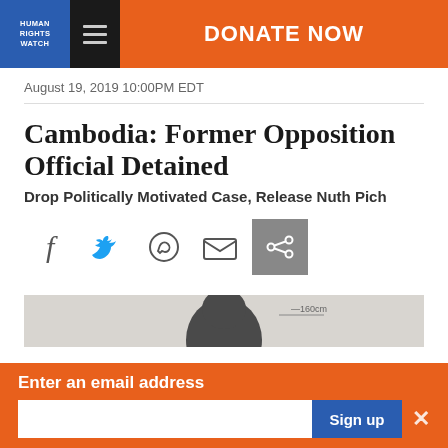HUMAN RIGHTS WATCH | DONATE NOW
August 19, 2019 10:00PM EDT
Cambodia: Former Opposition Official Detained
Drop Politically Motivated Case, Release Nuth Pich
[Figure (screenshot): Social sharing icons: Facebook, Twitter, WhatsApp, Email, Share (highlighted in grey)]
[Figure (photo): Partial photo of a person, cropped at bottom of content area]
Enter an email address
Sign up